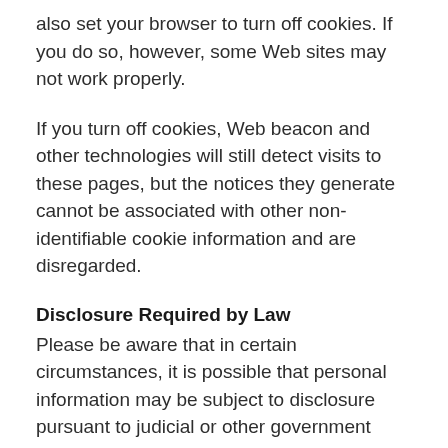also set your browser to turn off cookies. If you do so, however, some Web sites may not work properly.
If you turn off cookies, Web beacon and other technologies will still detect visits to these pages, but the notices they generate cannot be associated with other non-identifiable cookie information and are disregarded.
Disclosure Required by Law
Please be aware that in certain circumstances, it is possible that personal information may be subject to disclosure pursuant to judicial or other government subpoenas, warrants, or orders.